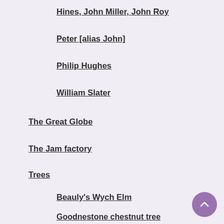Hines, John Miller, John Roy
Peter [alias John]
Philip Hughes
William Slater
The Great Globe
The Jam factory
Trees
Beauly's Wych Elm
Goodnestone chestnut tree